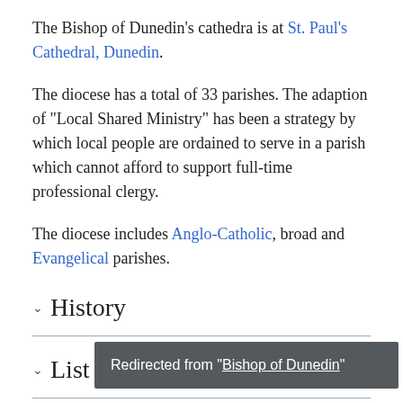The Bishop of Dunedin's cathedra is at St. Paul's Cathedral, Dunedin.
The diocese has a total of 33 parishes. The adaption of "Local Shared Ministry" has been a strategy by which local people are ordained to serve in a parish which cannot afford to support full-time professional clergy.
The diocese includes Anglo-Catholic, broad and Evangelical parishes.
History
List of bishops
Deans
Redirected from "Bishop of Dunedin"